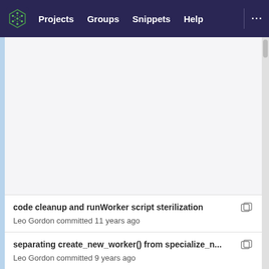Projects  Groups  Snippets  Help
[Figure (screenshot): Empty file content area with light gray background and left blue border strip]
code cleanup and runWorker script sterilization
Leo Gordon committed 11 years ago
separating create_new_worker() from specialize_n...
Leo Gordon committed 9 years ago